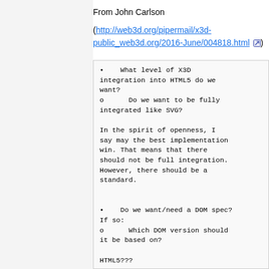From John Carlson
(http://web3d.org/pipermail/x3d-public_web3d.org/2016-June/004818.html )
• What level of X3D integration into HTML5 do we want?
o      Do we want to be fully integrated like SVG?
In the spirit of openness, I say may the best implementation win. That means that there should not be full integration. However, there should be a standard.
• Do we want/need a DOM spec? If so:
o      Which DOM version should it be based on?
HTML5???
o      Do we want to fully support all DOM/HTML features?
We should document what tags and attributes we are adding...